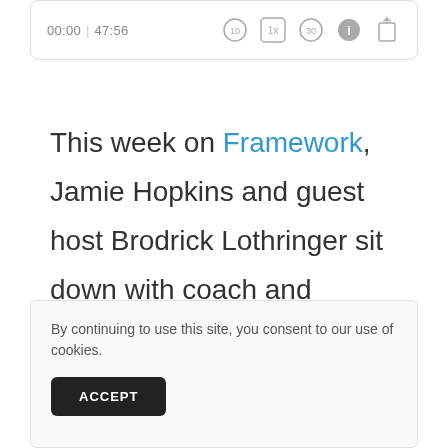[Figure (screenshot): Podcast player bar showing time 00:00 | 47:56 and playback controls including skip back 10, 1x speed, skip forward 30, info, and share icons]
This week on Framework, Jamie Hopkins and guest host Brodrick Lothringer sit down with coach and trainer Kent Katich. Kent has coached some of the best athletes in the world using yoga to improve performance, build total-body strength, and help
By continuing to use this site, you consent to our use of cookies.
ACCEPT